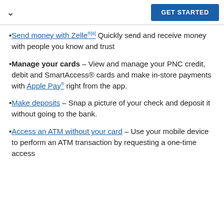GET STARTED
Send money with Zelle®[6] Quickly send and receive money with people you know and trust
Manage your cards – View and manage your PNC credit, debit and SmartAccess® cards and make in-store payments with Apple Pay® right from the app.
Make deposits – Snap a picture of your check and deposit it without going to the bank.
Access an ATM without your card – Use your mobile device to perform an ATM transaction by requesting a one-time access